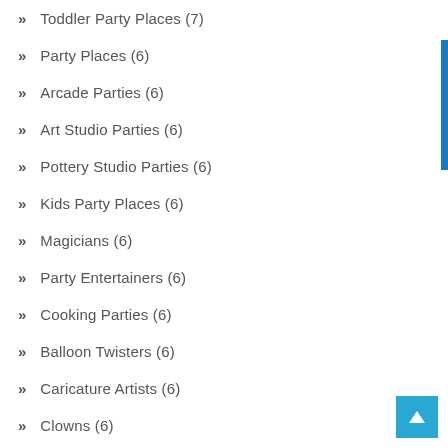Toddler Party Places (7)
Party Places (6)
Arcade Parties (6)
Art Studio Parties (6)
Pottery Studio Parties (6)
Kids Party Places (6)
Magicians (6)
Party Entertainers (6)
Cooking Parties (6)
Balloon Twisters (6)
Caricature Artists (6)
Clowns (6)